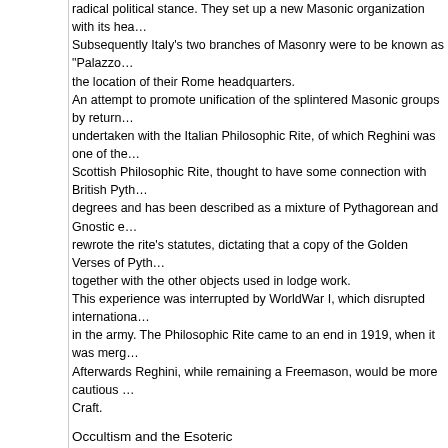radical political stance. They set up a new Masonic organization with its hea... Subsequently Italy's two branches of Masonry were to be known as "Palazzo" the location of their Rome headquarters. An attempt to promote unification of the splintered Masonic groups by return... undertaken with the Italian Philosophic Rite, of which Reghini was one of the... Scottish Philosophic Rite, thought to have some connection with British Pyth... degrees and has been described as a mixture of Pythagorean and Gnostic e... rewrote the rite's statutes, dictating that a copy of the Golden Verses of Pyth... together with the other objects used in lodge work. This experience was interrupted by WorldWar I, which disrupted internationa... in the army. The Philosophic Rite came to an end in 1919, when it was merg... Afterwards Reghini, while remaining a Freemason, would be more cautious ... Craft.
Occultism and the Esoteric
In Italy, as in the rest of Europe around the turn of the century, popular intere... phenomena like hypnotism and spiritualism. Astrological and magical manu... Cornelius Agrippa and Giovanni Battista della Porta abounded. At the same... Levi, Henri Durville, and Papus were gaining a considerable readership, and... Reghini himself translated Swami Vivekananda, the Egyptologist E.A. Wallis... occult tales. Both Reghini and Giuliano Kremmerz, active in Naples during the same peri... knowledge and warned against the confusion between spiritual achievement... respect they rejected the occultism of seances and sects, sharing the positio... term he coined) was based on faith, science, and reason. 19 This experimental method makes use not only of logic but of analogy. Early i... symbolism of architecture, ceremonies, and images is superior to ordinary la... which only symbolism can express, since it works through analogy; the hierc... superior to ordinary writing due to the breadth and precision of their meaning... Twenty years later, Reghini expressed much the same idea: "There exists a... cannot be transmitted with words (perceived and interpreted in the profane s... theWest which has nothing to do with the circuslike uproar, the parody and p...